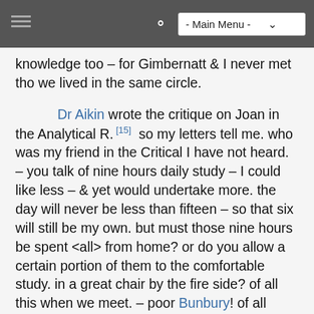- Main Menu -
knowledge too – for Gimbernatt & I never met tho we lived in the same circle.
Dr Aikin wrote the critique on Joan in the Analytical R. [15] so my letters tell me. who was my friend in the Critical I have not heard. – you talk of nine hours daily study – I could like less – & yet would undertake more. the day will never be less than fifteen – so that six will still be my own. but must those nine hours be spent <all> from home? or do you allow a certain portion of them to the comfortable study. in a great chair by the fire side? of all this when we meet. – poor Bunbury! of all professions what could make <him> chuse the army? after all your hum-drum plodding fellows stand the best chance in the world. imagination is a kind of mettled horse that will most probably break the riders neck when a donkey would have carried slow & sure to the end of